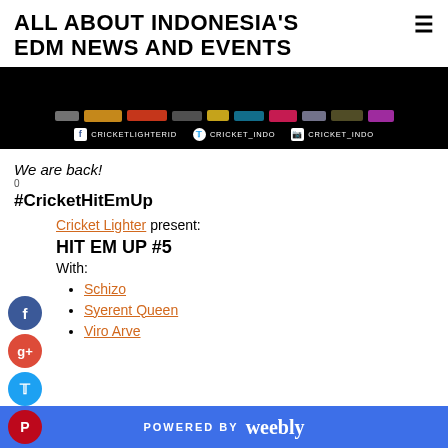ALL ABOUT INDONESIA'S EDM NEWS AND EVENTS
[Figure (photo): Dark banner with sponsor logos and social media handles: CRICKETLIGHTERID (Facebook), CRICKET_INDO (Twitter), CRICKET_INDO (Instagram)]
We are back!
0
#CricketHitEmUp
Cricket Lighter present:
HIT EM UP #5
With:
Schizo
Syerent Queen
Viro Arve
POWERED BY weebly